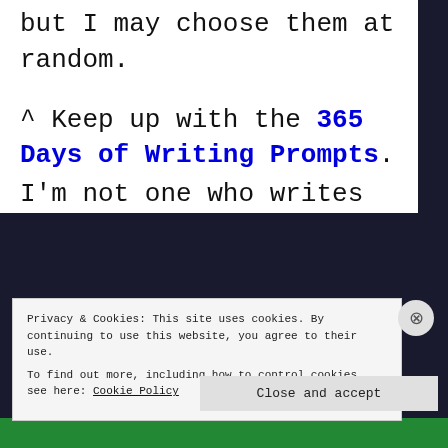but I may choose them at random.
^ Keep up with the 365 Days of Writing Prompts.
I'm not one who writes
Privacy & Cookies: This site uses cookies. By continuing to use this website, you agree to their use.
To find out more, including how to control cookies, see here: Cookie Policy
Close and accept